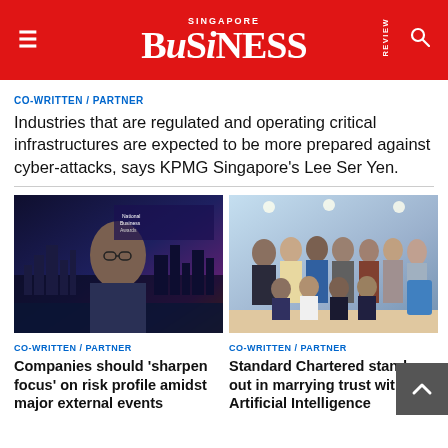SINGAPORE BUSINESS REVIEW
CO-WRITTEN / PARTNER
Industries that are regulated and operating critical infrastructures are expected to be more prepared against cyber-attacks, says KPMG Singapore's Lee Ser Yen.
[Figure (photo): Man in suit speaking at an event with National Business awards backdrop and Singapore city skyline]
CO-WRITTEN / PARTNER
Companies should 'sharpen focus' on risk profile amidst major external events
[Figure (photo): Group photo of a team of people in an office setting]
CO-WRITTEN / PARTNER
Standard Chartered stands out in marrying trust with Artificial Intelligence